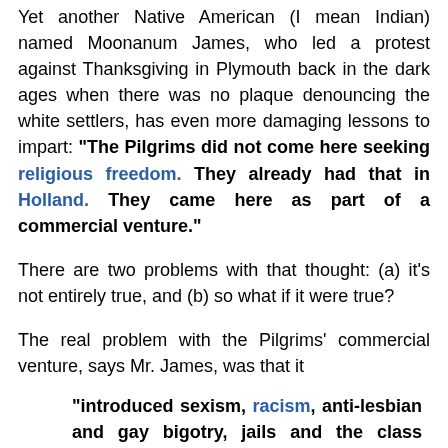Yet another Native American (I mean Indian) named Moonanum James, who led a protest against Thanksgiving in Plymouth back in the dark ages when there was no plaque denouncing the white settlers, has even more damaging lessons to impart: "The Pilgrims did not come here seeking religious freedom. They already had that in Holland. They came here as part of a commercial venture."
There are two problems with that thought: (a) it's not entirely true, and (b) so what if it were true?
The real problem with the Pilgrims' commercial venture, says Mr. James, was that it
"introduced sexism, racism, anti-lesbian and gay bigotry, jails and the class system to these shores. About the only true thing in the whole mythology is that these pitiful European strangers would not have survived their first year here in New England"